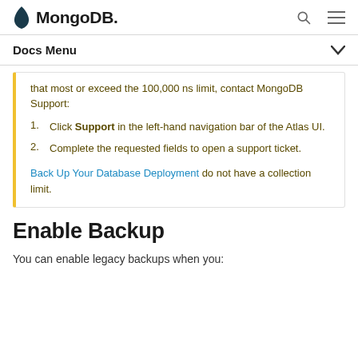MongoDB. [search icon] [menu icon]
Docs Menu ▾
that most or exceed the 100,000 ns limit, contact MongoDB Support:
1. Click Support in the left-hand navigation bar of the Atlas UI.
2. Complete the requested fields to open a support ticket.
Back Up Your Database Deployment do not have a collection limit.
Enable Backup
You can enable legacy backups when you: